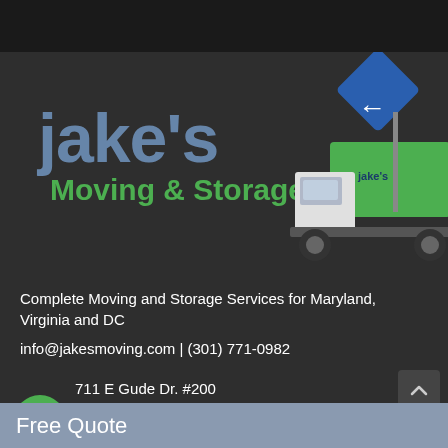[Figure (logo): Jake's Moving & Storage logo with moving truck and road sign illustration]
Complete Moving and Storage Services for Maryland, Virginia and DC
info@jakesmoving.com | (301) 771-0982
711 E Gude Dr. #200
Rockville, MD 20850 USA
[Figure (logo): BBB Accredited business badge]
[Figure (logo): Partner logo badge on right side]
Free Quote